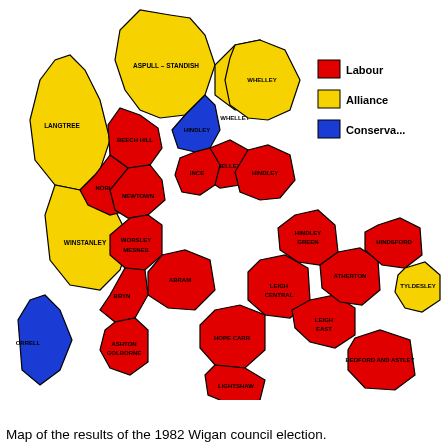[Figure (map): Choropleth map of the 1982 Wigan council election results showing wards coloured by winning party: Labour (red), Alliance (yellow), Conservative (blue). Wards labelled include Langtree, Aspull-Standish, Beech Hill, Hindley, Whelley, Norley, Newtown, Ince, Hindley, Worsley Mesnes, Winstanley, Orrell, Abram, Bryn, Hindsford, Tyldesley, Atherton, Leigh Central, Leigh East, Ashton Golborne, Hope Carr, Bedford and Astley, Golborne and Lowton area, Lightshaw.]
Map of the results of the 1982 Wigan council election.